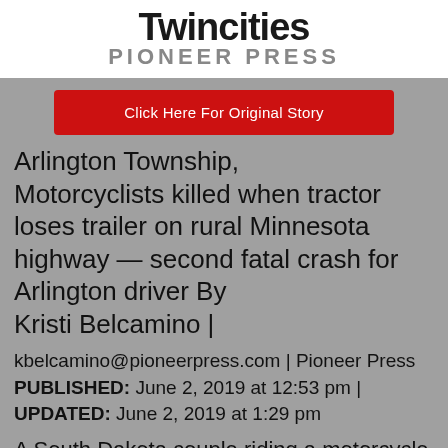[Figure (logo): Twin Cities Pioneer Press logo — bold black 'Twincities' text above gray 'PIONEER PRESS' in spaced capitals]
Click Here For Original Story
Arlington Township, Motorcyclists killed when tractor loses trailer on rural Minnesota highway — second fatal crash for Arlington driver By Kristi Belcamino | kbelcamino@pioneerpress.com | Pioneer Press PUBLISHED: June 2, 2019 at 12:53 pm | UPDATED: June 2, 2019 at 1:29 pm
A South Dakota couple riding a motorcycle was